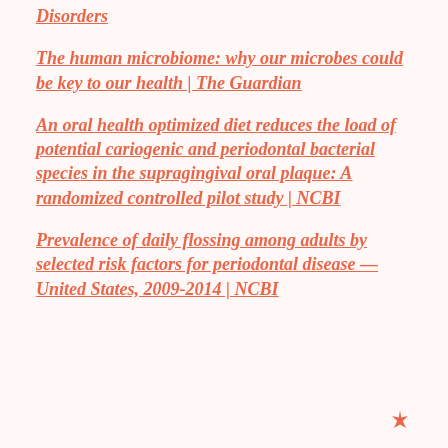Disorders
The human microbiome: why our microbes could be key to our health | The Guardian
An oral health optimized diet reduces the load of potential cariogenic and periodontal bacterial species in the supragingival oral plaque: A randomized controlled pilot study | NCBI
Prevalence of daily flossing among adults by selected risk factors for periodontal disease — United States, 2009-2014 | NCBI